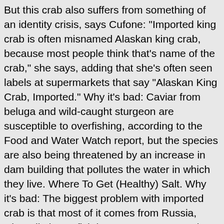But this crab also suffers from something of an identity crisis, says Cufone: "Imported king crab is often misnamed Alaskan king crab, because most people think that's name of the crab," she says, adding that she's often seen labels at supermarkets that say "Alaskan King Crab, Imported." Why it's bad: Caviar from beluga and wild-caught sturgeon are susceptible to overfishing, according to the Food and Water Watch report, but the species are also being threatened by an increase in dam building that pollutes the water in which they live. Where To Get (Healthy) Salt. Why it's bad: The biggest problem with imported crab is that most of it comes from Russia, where limits on fish harvests aren't strongly enforced. You'll get 0.14 grams of EPA and 0.11 grams of DHA in 3 ounces of sole, according to the U.S. Department of Agriculture. This is good for the health, especially in weight loss. Seventy percent of domestic shrimp comes from the Gulf of Mexico, which relies heavily on shrimp for economic reasons. We also culled a list of some examples of fish to keep off your plate. Currently, all fish labeled "Atlantic salmon" come from fish farms.